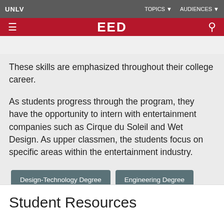UNLV | EED program. Students are en... TOPICS AUDIENCES
...ring these first two years, students develop collaboration, analysis, planning and design skills.
These skills are emphasized throughout their college career.
As students progress through the program, they have the opportunity to intern with entertainment companies such as Cirque du Soleil and Wet Design. As upper classmen, the students focus on specific areas within the entertainment industry.
Design-Technology Degree
Engineering Degree
Student Resources